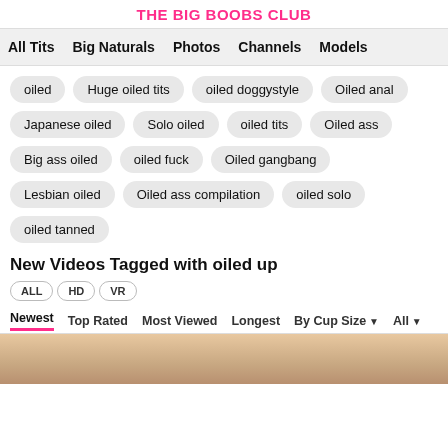THE BIG BOOBS CLUB
All Tits  Big Naturals  Photos  Channels  Models
oiled
Huge oiled tits
oiled doggystyle
Oiled anal
Japanese oiled
Solo oiled
oiled tits
Oiled ass
Big ass oiled
oiled fuck
Oiled gangbang
Lesbian oiled
Oiled ass compilation
oiled solo
oiled tanned
New Videos Tagged with oiled up
ALL  HD  VR
Newest  Top Rated  Most Viewed  Longest  By Cup Size  All
[Figure (photo): Thumbnail strip of video content at bottom of page]